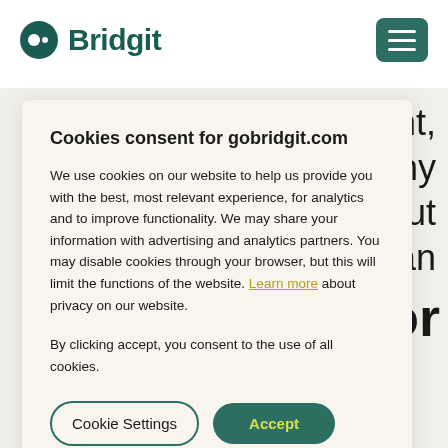[Figure (logo): Bridgit logo with teal circular icon and teal wordmark]
[Figure (other): Hamburger menu button (three horizontal lines on dark teal background)]
agement, many arn about hey can
tractor
Cookies consent for gobridgit.com
We use cookies on our website to help us provide you with the best, most relevant experience, for analytics and to improve functionality. We may share your information with advertising and analytics partners. You may disable cookies through your browser, but this will limit the functions of the website. Learn more about privacy on our website.
By clicking accept, you consent to the use of all cookies.
ake many roofing companies manage their operations, including